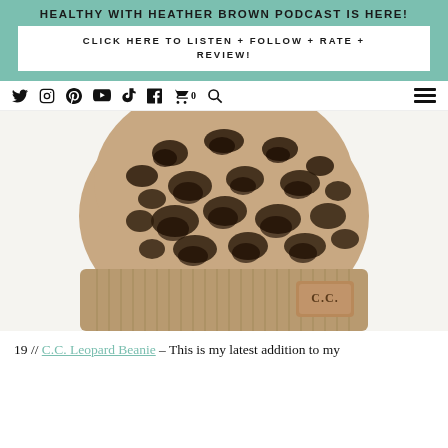HEALTHY WITH HEATHER BROWN PODCAST IS HERE!
CLICK HERE TO LISTEN + FOLLOW + RATE + REVIEW!
[Figure (screenshot): Navigation bar with social media icons: Twitter, Instagram, Pinterest, YouTube, TikTok, Facebook, shopping cart (0), search, and hamburger menu]
[Figure (photo): A C.C. leopard print beanie hat with tan/khaki ribbed cuff and a C.C. branded leather label patch. The hat body features a dark brown and black leopard spot pattern on a tan background.]
19 // C.C. Leopard Beanie – This is my latest addition to my